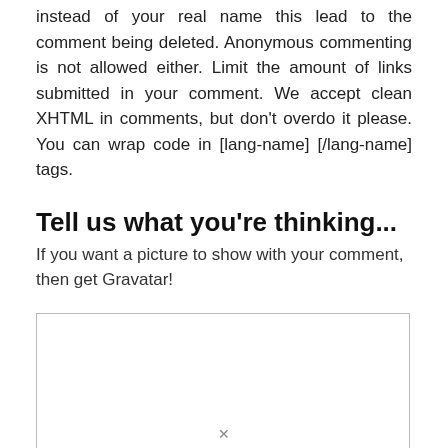instead of your real name this lead to the comment being deleted. Anonymous commenting is not allowed either. Limit the amount of links submitted in your comment. We accept clean XHTML in comments, but don't overdo it please. You can wrap code in [lang-name] [/lang-name] tags.
Tell us what you're thinking...
If you want a picture to show with your comment, then get Gravatar!
[Figure (other): Empty text input area / comment box with border]